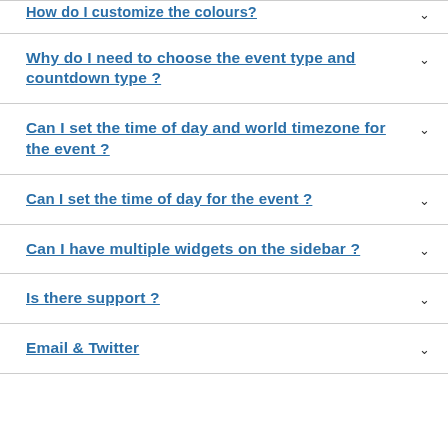How do I customize the colours?
Why do I need to choose the event type and countdown type ?
Can I set the time of day and world timezone for the event ?
Can I set the time of day for the event ?
Can I have multiple widgets on the sidebar ?
Is there support ?
Email & Twitter